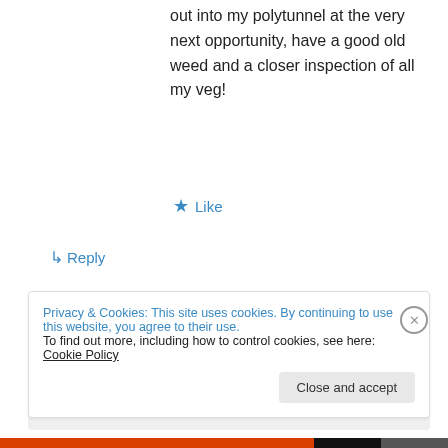out into my polytunnel at the very next opportunity, have a good old weed and a closer inspection of all my veg!
★ Like
↳ Reply
Jane Powers on July 30, 2011 at 12:00 am
Find anything good? 🙂
Privacy & Cookies: This site uses cookies. By continuing to use this website, you agree to their use. To find out more, including how to control cookies, see here: Cookie Policy
Close and accept